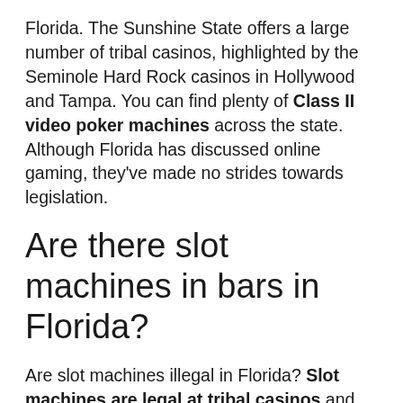Florida. The Sunshine State offers a large number of tribal casinos, highlighted by the Seminole Hard Rock casinos in Hollywood and Tampa. You can find plenty of Class II video poker machines across the state. Although Florida has discussed online gaming, they've made no strides towards legislation.
Are there slot machines in bars in Florida?
Are slot machines illegal in Florida? Slot machines are legal at tribal casinos and pari-mutuels only in Broward and Miami-Dade counties. Not only are slot machines illegal elsewhere, you are not permitted to